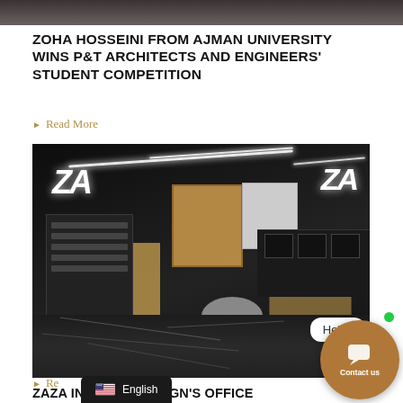[Figure (photo): Top portion of a partially visible photograph — dark/shadowed image at the top of the page]
ZOHA HOSSEINI FROM AJMAN UNIVERSITY WINS P&T ARCHITECTS AND ENGINEERS' STUDENT COMPETITION
Read More
[Figure (photo): Interior of ZAZA Interior Design office – dark marble floors with white veining, black walls, linear LED lighting strips on ceiling, ZA logo illuminated on walls, wood-and-dark shelving units, a circular sofa in the center, computer workstations along the back wall, a cork board and white screen panel in the center background. Hello! chat bubble overlay bottom right.]
ZAZA INTERIOR DESIGN'S OFFICE DOUBLES UP AS SOCIAL SPACE!
Re